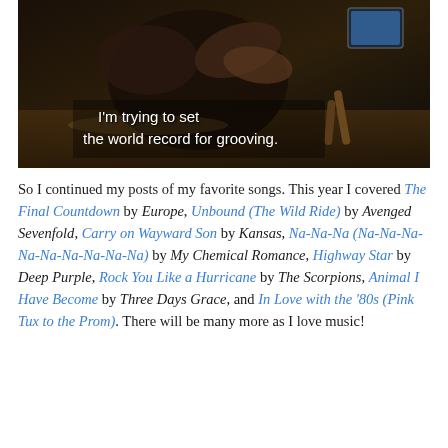[Figure (screenshot): A dark video screenshot showing a creature or seal-like animal on a wooden surface with a small screen visible. Subtitle text reads: I'm trying to set the world record for grooving.]
So I continued my posts of my favorite songs. This year I covered The Final Countdown by Europe, Unbound (The Wild Ride) by Avenged Sevenfold, Carry on Wayward Son by Kansas, Na-Na-Na (Na-Na-Na-Na-Na-Na-Na-Na-Na) by My Chemical Romance, Highway Star by Deep Purple, Rock You Like a Hurricane by The Scorpions, Animal I Have Become by Three Days Grace, and In Love with the '80s (Pink Tux to the Prom). There will be many more as I love music!